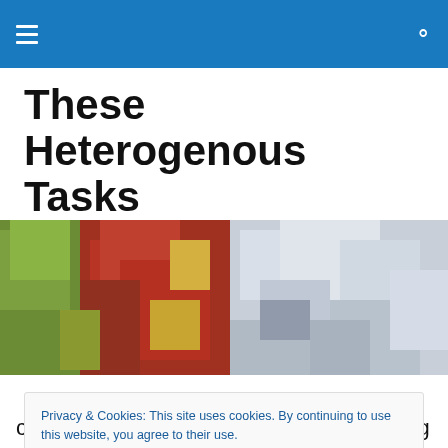Navigation bar with hamburger menu and search icon
These Heterogenous Tasks
Haphazard thoughts on game design and narrative.
[Figure (photo): Wide landscape photo showing autumn foliage on the left half (green and red/orange leaves) and white rocky glacial or sandstone formations on the right half.]
Privacy & Cookies: This site uses cookies. By continuing to use this website, you agree to their use.
To find out more, including how to control cookies, see here: Cookie Policy
[Close and accept button]
corporate careers, the difficulty of effecting change, and